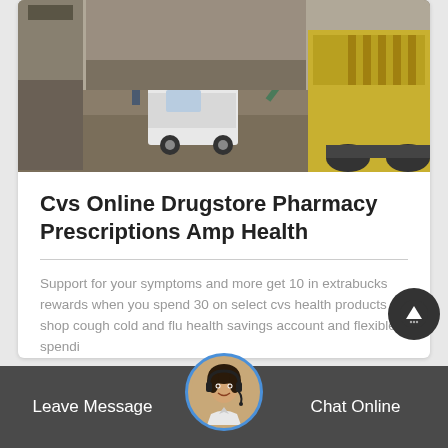[Figure (photo): Aerial view of a construction/industrial site with a white van and heavy machinery (yellow crusher/excavator equipment)]
Cvs Online Drugstore Pharmacy Prescriptions Amp Health
Support for your symptoms and more get 10 in extrabucks rewards when you spend 30 on select cvs health products shop cough cold and flu health savings account and flexible spendi
See Details
Leave Message
Chat Online